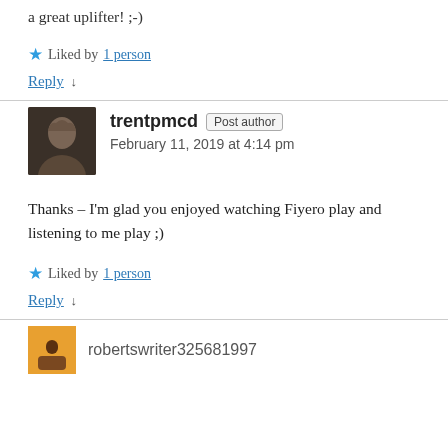a great uplifter! ;-)
★ Liked by 1 person
Reply ↓
trentpmcd Post author
February 11, 2019 at 4:14 pm
Thanks – I'm glad you enjoyed watching Fiyero play and listening to me play ;)
★ Liked by 1 person
Reply ↓
robertswriter325681997